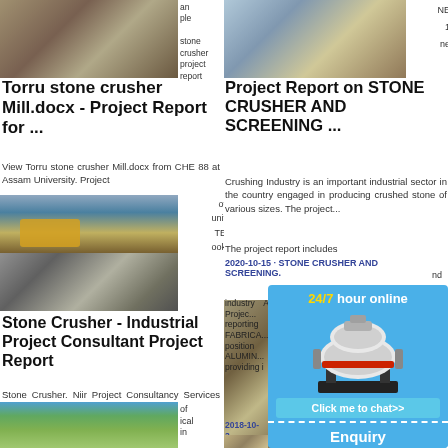[Figure (photo): Stone crusher construction site photo at top left]
stone crusher project report india project report to set up stone crusher plant
Torru stone crusher Mill.docx - Project Report for ...
View Torru stone crusher Mill.docx from CHE 88 at Assam University. Project
[Figure (photo): Two-photo collage: yellow excavator at quarry (top), crushed rocks/boulders (bottom)]
of unit TE ook
Stone Crusher - Industrial Project Consultant Project Report
Stone Crusher. Niir Project Consultancy Services (NPCS) through its network of project
[Figure (photo): Trees / outdoor scene, bottom left]
of ical in
[Figure (photo): Stone crushing quarry / plant, top right]
NE 1 ne
Project Report on STONE CRUSHER AND SCREENING ...
Crushing Industry is an important industrial sector in the country engaged in producing crushed stone of various sizes. The project...
The project report includes
2020-10-15 · STONE CRUSHER AND SCREENING.
nd
industry A Project... reporting FABRICA... position ALUMIN... providing i
2018-10-3... analysis of... REPORT OF AN
[Figure (infographic): 24/7 hour online chat widget with crusher machine image, Click me to chat button, Enquiry button, limingjlmofen text]
[Figure (photo): Stone/quarry material photo, bottom right]